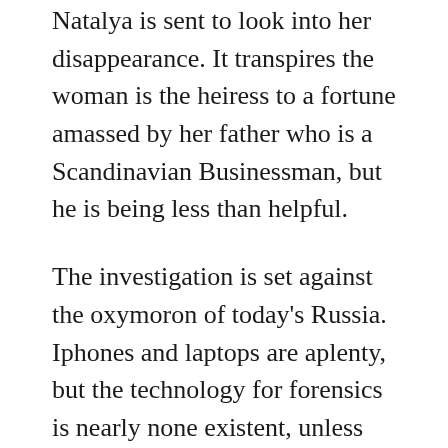Natalya is sent to look into her disappearance. It transpires the woman is the heiress to a fortune amassed by her father who is a Scandinavian Businessman, but he is being less than helpful.
The investigation is set against the oxymoron of today's Russia. Iphones and laptops are aplenty, but the technology for forensics is nearly none existent, unless you work for one of the governments agencies. Natalya's one true ally is the senior criminologist (CSI) Leo Primakov, who has to buy equipment out of his own pocket and rely on American TV shows to help him keep up to date with his science.
As she begins to investigate the disappearance